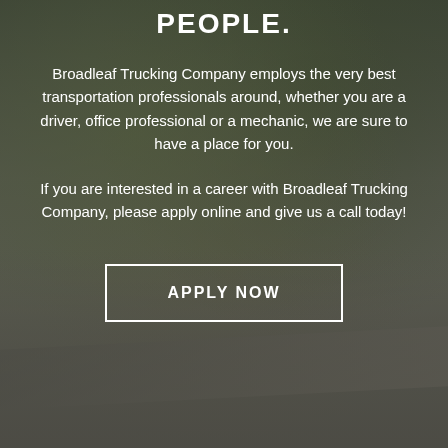PEOPLE.
Broadleaf Trucking Company employs the very best transportation professionals around, whether you are a driver, office professional or a mechanic, we are sure to have a place for you.
If you are interested in a career with Broadleaf Trucking Company, please apply online and give us a call today!
APPLY NOW